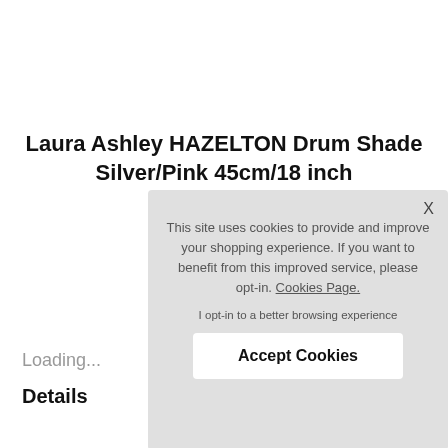Laura Ashley HAZELTON Drum Shade Silver/Pink 45cm/18 inch
Code: LA-LA3756076-O
Loading...
Details
This site uses cookies to provide and improve your shopping experience. If you want to benefit from this improved service, please opt-in. Cookies Page.
I opt-in to a better browsing experience
Accept Cookies